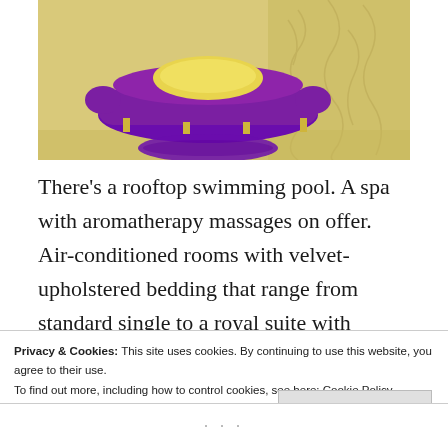[Figure (photo): A hotel room interior showing a purple velvet sofa/chaise with a yellow pillow, against a cream/gold decorative wall with ornate molding. Purple floor cushion or rug visible at the front.]
There's a rooftop swimming pool. A spa with aromatherapy massages on offer. Air-conditioned rooms with velvet-upholstered bedding that range from standard single to a royal suite with attached balcony. Round-the-clock personal assistance. A medic on call. A leisure room with your favourite TV channels and lots of games to keep you entertained. A fitness instructor. Healthy, freshly cooked
Privacy & Cookies: This site uses cookies. By continuing to use this website, you agree to their use.
To find out more, including how to control cookies, see here: Cookie Policy
Close and accept